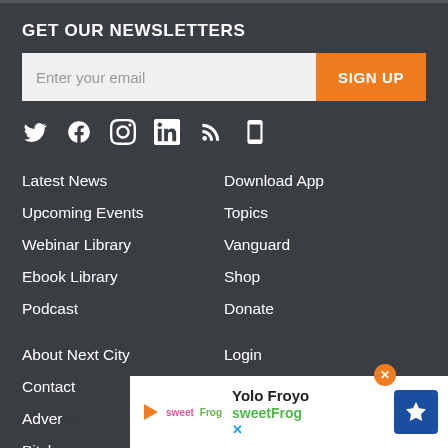GET OUR NEWSLETTERS
Enter your email | SIGN UP
[Figure (infographic): Social media icons: Twitter, Facebook, Instagram, LinkedIn, RSS, Mobile app]
Latest News
Upcoming Events
Webinar Library
Ebook Library
Podcast
Download App
Topics
Vanguard
Shop
Donate
About Next City
Contact
Adver...
Pitch ...
Login
Post a Job Listing
[Figure (screenshot): Ad overlay: Yolo Froyo - sweetFrog with navigation arrow button and X/close button]